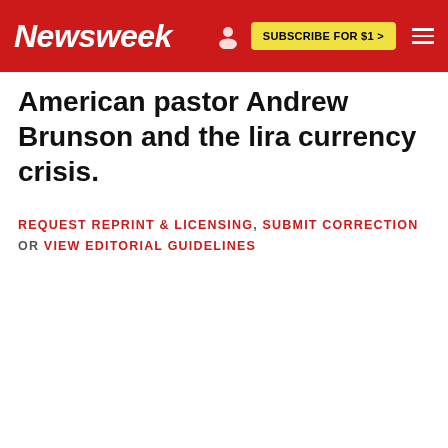Newsweek | SUBSCRIBE FOR $1 >
American pastor Andrew Brunson and the lira currency crisis.
REQUEST REPRINT & LICENSING, SUBMIT CORRECTION OR VIEW EDITORIAL GUIDELINES